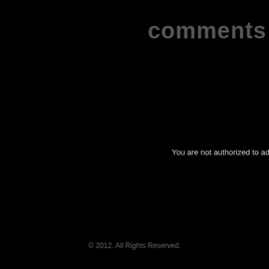comments
You are not authorized to add a co
© 2012. All Rights Reserved.